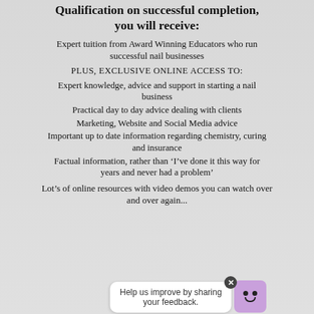Qualification on successful completion, you will receive:
Expert tuition from Award Winning Educators who run successful nail businesses
PLUS, EXCLUSIVE ONLINE ACCESS TO:
Expert knowledge, advice and support in starting a nail business
Practical day to day advice dealing with clients
Marketing, Website and Social Media advice
Important up to date information regarding chemistry, curing and insurance
Factual information, rather than ‘I’ve done it this way for years and never had a problem’
Lot’s of online resources with video demos you can watch over and over again...
[Figure (other): Chat feedback widget with close button and bot icon. Text reads: Help us improve by sharing your feedback.]